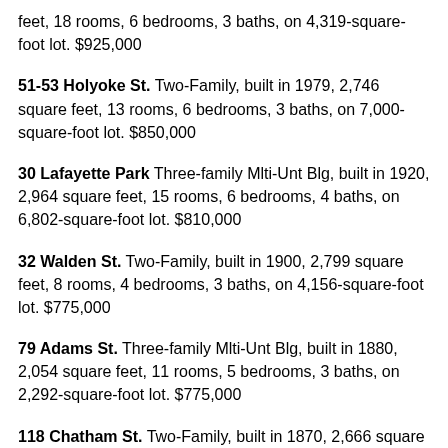feet, 18 rooms, 6 bedrooms, 3 baths, on 4,319-square-foot lot. $925,000
51-53 Holyoke St. Two-Family, built in 1979, 2,746 square feet, 13 rooms, 6 bedrooms, 3 baths, on 7,000-square-foot lot. $850,000
30 Lafayette Park Three-family Mlti-Unt Blg, built in 1920, 2,964 square feet, 15 rooms, 6 bedrooms, 4 baths, on 6,802-square-foot lot. $810,000
32 Walden St. Two-Family, built in 1900, 2,799 square feet, 8 rooms, 4 bedrooms, 3 baths, on 4,156-square-foot lot. $775,000
79 Adams St. Three-family Mlti-Unt Blg, built in 1880, 2,054 square feet, 11 rooms, 5 bedrooms, 3 baths, on 2,292-square-foot lot. $775,000
118 Chatham St. Two-Family, built in 1870, 2,666 square feet, 10